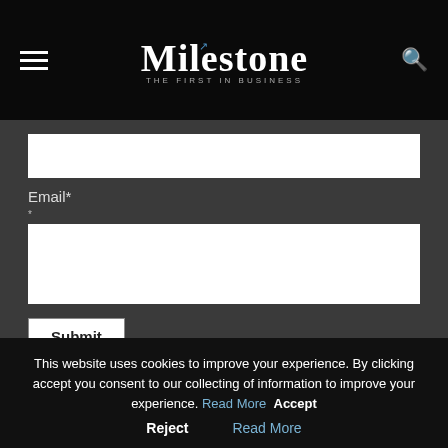Milestone – THE FIRST IN BUSINESS
Email*
Submit
This website uses cookies to improve your experience. By clicking accept you consent to our collecting of information to improve your experience. Read More  Accept
Reject   Read More